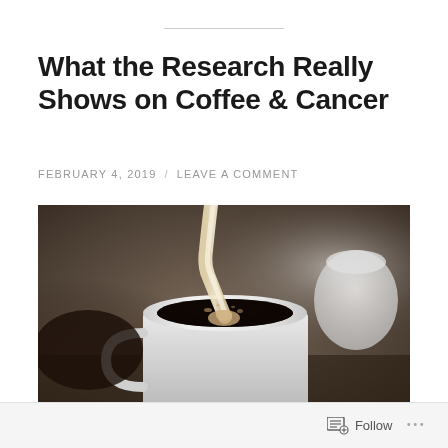What the Research Really Shows on Coffee & Cancer
FEBRUARY 4, 2019 / LEAVE A COMMENT
[Figure (photo): Close-up photograph of cream being poured into a white mug of black coffee, with bokeh background. A white ceramic container is visible on the right.]
Follow ...